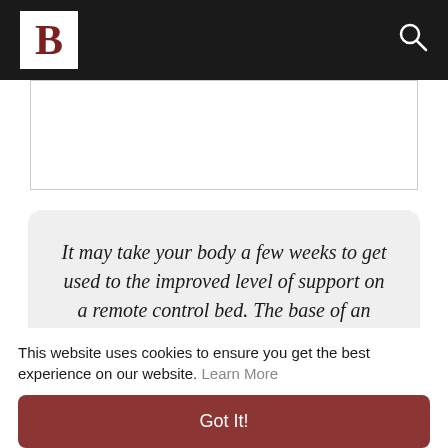B [logo] [search icon]
[Figure (other): White rectangular image placeholder area with thin border]
It may take your body a few weeks to get used to the improved level of support on a remote control bed. The base of an electric adjustable profiling bed is sectioned.
This website uses cookies to ensure you get the best experience on our website. Learn More
Got It!